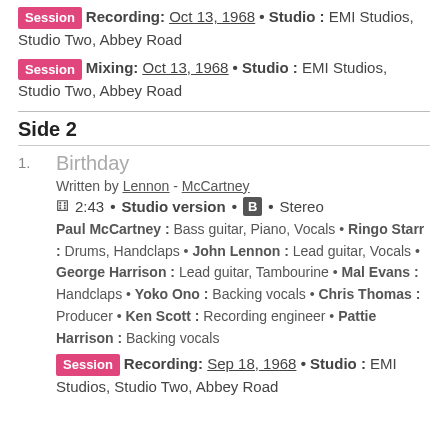Session Recording: Oct 13, 1968 • Studio : EMI Studios, Studio Two, Abbey Road
Session Mixing: Oct 13, 1968 • Studio : EMI Studios, Studio Two, Abbey Road
Side 2
1. Birthday
Written by Lennon - McCartney
⏱ 2:43 • Studio version • B • Stereo
Paul McCartney : Bass guitar, Piano, Vocals • Ringo Starr : Drums, Handclaps • John Lennon : Lead guitar, Vocals • George Harrison : Lead guitar, Tambourine • Mal Evans : Handclaps • Yoko Ono : Backing vocals • Chris Thomas : Producer • Ken Scott : Recording engineer • Pattie Harrison : Backing vocals
Session Recording: Sep 18, 1968 • Studio : EMI Studios, Studio Two, Abbey Road